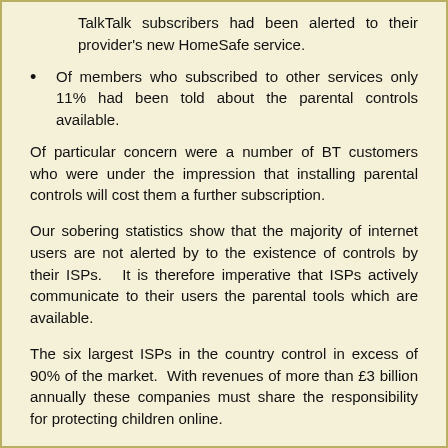TalkTalk subscribers had been alerted to their provider's new HomeSafe service.
Of members who subscribed to other services only 11% had been told about the parental controls available.
Of particular concern were a number of BT customers who were under the impression that installing parental controls will cost them a further subscription.
Our sobering statistics show that the majority of internet users are not alerted by to the existence of controls by their ISPs. It is therefore imperative that ISPs actively communicate to their users the parental tools which are available.
The six largest ISPs in the country control in excess of 90% of the market. With revenues of more than £3 billion annually these companies must share the responsibility for protecting children online.
There is a suggestion that it is entirely the responsibility of